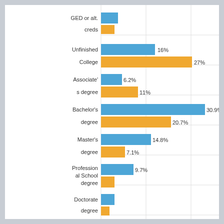[Figure (grouped-bar-chart): Education Level Distribution]